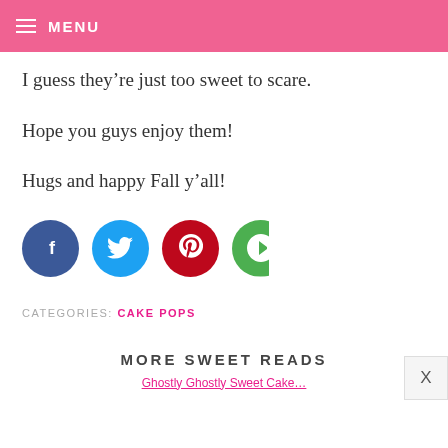MENU
I guess they’re just too sweet to scare.
Hope you guys enjoy them!
Hugs and happy Fall y’all!
[Figure (infographic): Four social share buttons: Facebook (dark blue circle with f), Twitter (light blue circle with bird), Pinterest (red circle with p), and a partially visible green circle with arrow icon]
CATEGORIES: CAKE POPS
MORE SWEET READS